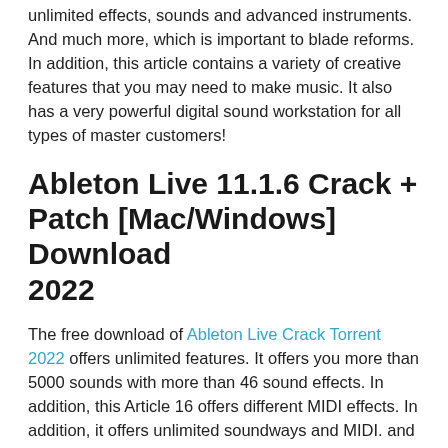unlimited effects, sounds and advanced instruments. And much more, which is important to blade reforms. In addition, this article contains a variety of creative features that you may need to make music. It also has a very powerful digital sound workstation for all types of master customers!
Ableton Live 11.1.6 Crack + Patch [Mac/Windows] Download 2022
The free download of Ableton Live Crack Torrent 2022 offers unlimited features. It offers you more than 5000 sounds with more than 46 sound effects. In addition, this Article 16 offers different MIDI effects. In addition, it offers unlimited soundways and MIDI. and scenes. This application essentially enhances all solid report designs